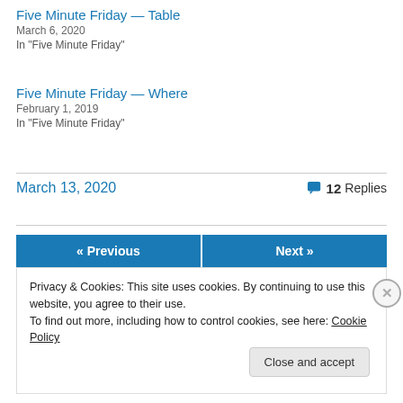Five Minute Friday — Table
March 6, 2020
In "Five Minute Friday"
Five Minute Friday — Where
February 1, 2019
In "Five Minute Friday"
March 13, 2020   💬 12 Replies
« Previous   Next »
Privacy & Cookies: This site uses cookies. By continuing to use this website, you agree to their use.
To find out more, including how to control cookies, see here: Cookie Policy
Close and accept